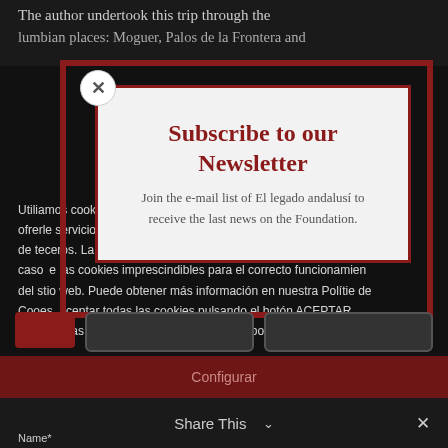The author undertook this trip through the Columbian places: Moguer, Palos de la Frontera and
Utilizamos cookies propias y de terceros para fines analíticos y para ofrecerle servicios adecuados a su perfil, así como publicidad propia y de terceros. La base de tratamiento es el consentimiento, salvo el caso de las cookies imprescindibles para el correcto funcionamiento del sitio web. Puede obtener más información en nuestra Política de Cookies, aceptar todas las cookies pulsando el botón ACEPTAR o configurarlas o rechazar su uso pulsando el botón CONFIGURAR.
Subscribe to our Newsletter
Join the e-mail list of El legado andalusí to receive the last news on the Foundation.
Configurar
Share This ∨
Name*